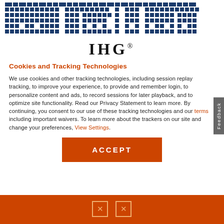[Figure (logo): IHG hotel group mosaic/pixel art banner at top of page in dark blue and light blue colors]
[Figure (logo): IHG wordmark logo in large serif font]
Cookies and Tracking Technologies
We use cookies and other tracking technologies, including session replay tracking, to improve your experience, to provide and remember login, to personalize content and ads, to record sessions for later playback, and to optimize site functionality. Read our Privacy Statement to learn more. By continuing, you consent to our use of these tracking technologies and our terms including important waivers. To learn more about the trackers on our site and change your preferences, View Settings.
[Figure (other): Orange ACCEPT button]
Orange footer bar with icon symbols